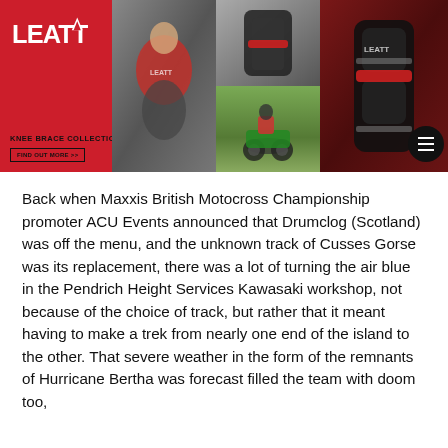[Figure (photo): Leatt Knee Brace Collection advertisement banner showing the Leatt logo on red background, a rider putting on knee brace, close-up of knee brace, motocross action shot, and product photo of knee brace. Contains text 'KNEE BRACE COLLECTION' and 'FIND OUT MORE >>' button. Hamburger menu icon in bottom right.]
Back when Maxxis British Motocross Championship promoter ACU Events announced that Drumclog (Scotland) was off the menu, and the unknown track of Cusses Gorse was its replacement, there was a lot of turning the air blue in the Pendrich Height Services Kawasaki workshop, not because of the choice of track, but rather that it meant having to make a trek from nearly one end of the island to the other. That severe weather in the form of the remnants of Hurricane Bertha was forecast filled the team with doom too,